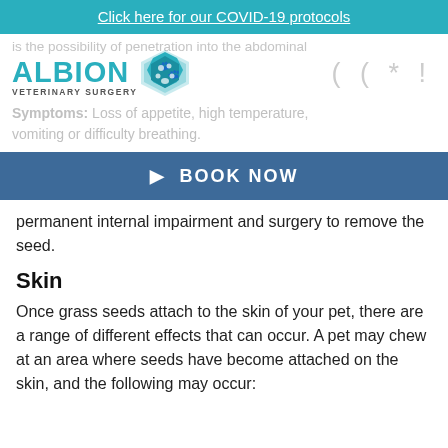Click here for our COVID-19 protocols
[Figure (logo): Albion Veterinary Surgery logo with teal diamond geometric shape]
is the possibility of penetration into the abdominal
Symptoms: Loss of appetite, high temperature, vomiting or difficulty breathing.
BOOK NOW
permanent internal impairment and surgery to remove the seed.
Skin
Once grass seeds attach to the skin of your pet, there are a range of different effects that can occur. A pet may chew at an area where seeds have become attached on the skin, and the following may occur: